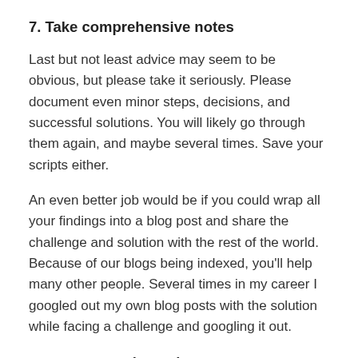7. Take comprehensive notes
Last but not least advice may seem to be obvious, but please take it seriously. Please document even minor steps, decisions, and successful solutions. You will likely go through them again, and maybe several times. Save your scripts either.
An even better job would be if you could wrap all your findings into a blog post and share the challenge and solution with the rest of the world. Because of our blogs being indexed, you'll help many other people. Several times in my career I googled out my own blog posts with the solution while facing a challenge and googling it out.
Content migration
When asking my colleagues what was the biggest challenge